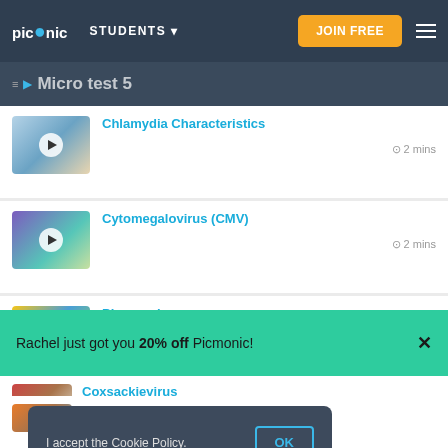picmonic | STUDENTS | JOIN FREE
Micro test 5
Chlamydia Characteristics — 2 mins
Cytomegalovirus (CMV) — 2 mins
Picornavirus
Rachel just got you 20% off Picmonic!
Coxsackievirus
I accept the Cookie Policy.
Rabies Virus